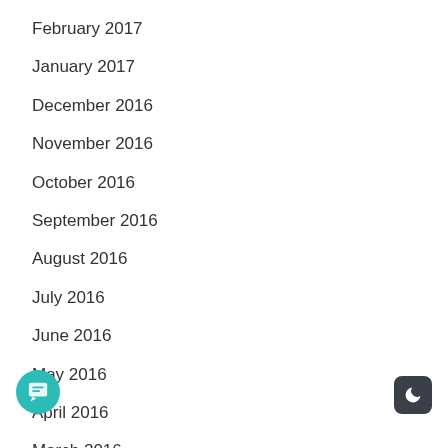February 2017
January 2017
December 2016
November 2016
October 2016
September 2016
August 2016
July 2016
June 2016
May 2016
April 2016
March 2016
February 2016